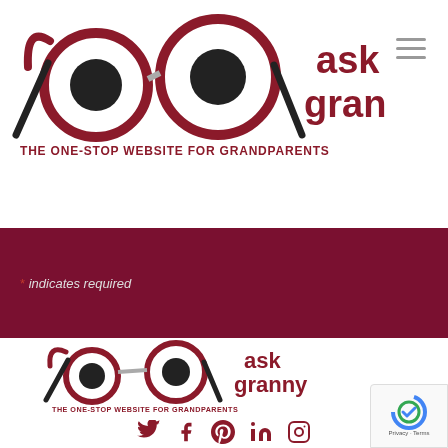[Figure (logo): Ask Granny logo — circular glasses illustration with 'ask granny' text in dark red, and tagline 'THE ONE-STOP WEBSITE FOR GRANDPARENTS']
[Figure (illustration): Hamburger menu icon (three horizontal lines) in gray on the top right]
* indicates required
[Figure (logo): Ask Granny logo (larger) — circular glasses illustration with 'ask granny' text in dark red, and tagline 'THE ONE-STOP WEBSITE FOR GRANDPARENTS', with social media icons below (Twitter, Facebook, Pinterest, LinkedIn, Instagram)]
[Figure (logo): Google reCAPTCHA badge with Privacy and Terms links]